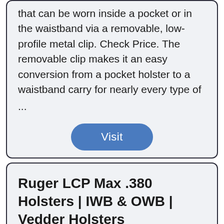that can be worn inside a pocket or in the waistband via a removable, low-profile metal clip. Check Price. The removable clip makes it an easy conversion from a pocket holster to a waistband carry for nearly every type of
...
Visit
Ruger LCP Max .380 Holsters | IWB & OWB | Vedder Holsters
Find many great new & used options and get the best deals for Concealed Carry IWB Gun